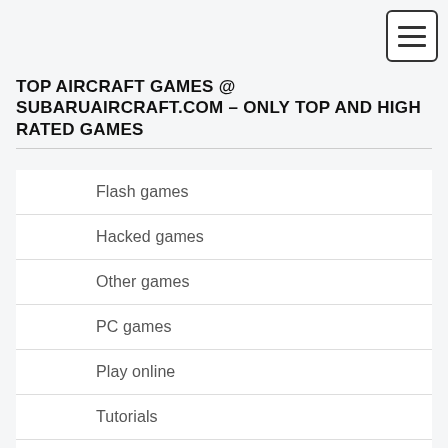TOP AIRCRAFT GAMES @ SUBARUAIRCRAFT.COM – ONLY TOP AND HIGH RATED GAMES
Flash games
Hacked games
Other games
PC games
Play online
Tutorials
Unblocked games
Video guides